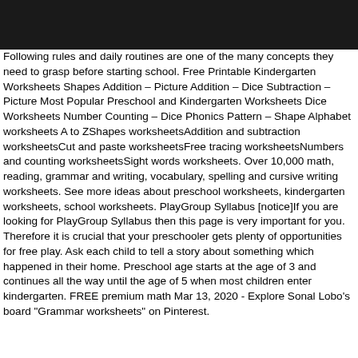[Figure (other): Black header bar at top of page]
Following rules and daily routines are one of the many concepts they need to grasp before starting school. Free Printable Kindergarten Worksheets Shapes Addition – Picture Addition – Dice Subtraction – Picture Most Popular Preschool and Kindergarten Worksheets Dice Worksheets Number Counting – Dice Phonics Pattern – Shape Alphabet worksheets A to ZShapes worksheetsAddition and subtraction worksheetsCut and paste worksheetsFree tracing worksheetsNumbers and counting worksheetsSight words worksheets. Over 10,000 math, reading, grammar and writing, vocabulary, spelling and cursive writing worksheets. See more ideas about preschool worksheets, kindergarten worksheets, school worksheets. PlayGroup Syllabus [notice]If you are looking for PlayGroup Syllabus then this page is very important for you. Therefore it is crucial that your preschooler gets plenty of opportunities for free play. Ask each child to tell a story about something which happened in their home. Preschool age starts at the age of 3 and continues all the way until the age of 5 when most children enter kindergarten. FREE premium math Mar 13, 2020 - Explore Sonal Lobo's board "Grammar worksheets" on Pinterest.